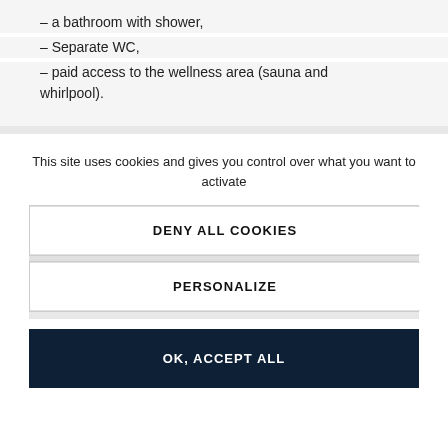– a bathroom with shower,
– Separate WC,
– paid access to the wellness area (sauna and whirlpool).
This site uses cookies and gives you control over what you want to activate
DENY ALL COOKIES
PERSONALIZE
OK, ACCEPT ALL